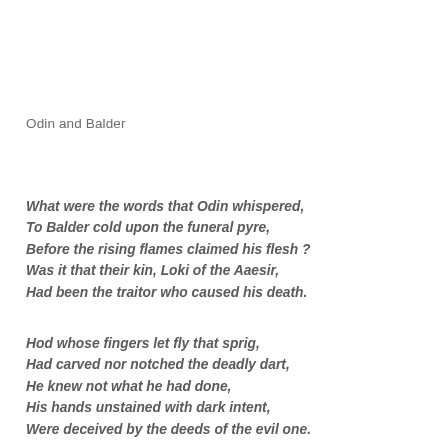Odin and Balder
What were the words that Odin whispered,
To Balder cold upon the funeral pyre,
Before the rising flames claimed his flesh ?
Was it that their kin, Loki of the Aaesir,
Had been the traitor who caused his death.
Hod whose fingers let fly that sprig,
Had carved nor notched the deadly dart,
He knew not what he had done,
His hands unstained with dark intent,
Were deceived by the deeds of the evil one.